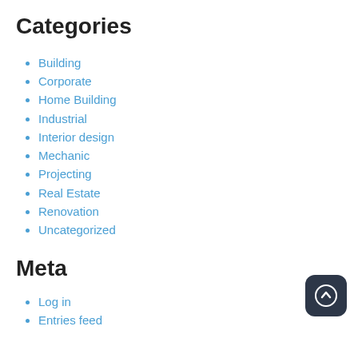Categories
Building
Corporate
Home Building
Industrial
Interior design
Mechanic
Projecting
Real Estate
Renovation
Uncategorized
Meta
Log in
Entries feed
[Figure (illustration): Dark rounded square button with upward arrow icon (scroll to top button)]